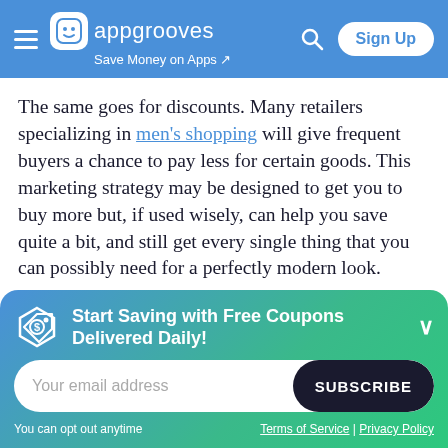appgrooves — Save Money on Apps
The same goes for discounts. Many retailers specializing in men's shopping will give frequent buyers a chance to pay less for certain goods. This marketing strategy may be designed to get you to buy more but, if used wisely, can help you save quite a bit, and still get every single thing that you can possibly need for a perfectly modern look.
Coupons are another way to keep your budget in
[Figure (infographic): Start Saving with Free Coupons Delivered Daily! banner with email subscription form, subscribe button, opt-out notice, Terms of Service and Privacy Policy links]